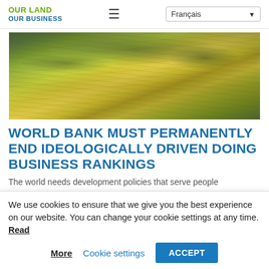OUR LAND OUR BUSINESS | ≡ | Français ▼
[Figure (photo): Aerial view of terraced agricultural fields with yellow and green crops, lush farmland landscape]
WORLD BANK MUST PERMANENTLY END IDEOLOGICALLY DRIVEN DOING BUSINESS RANKINGS
The world needs development policies that serve people
We use cookies to ensure that we give you the best experience on our website. You can change your cookie settings at any time. Read More | Cookie settings | ACCEPT